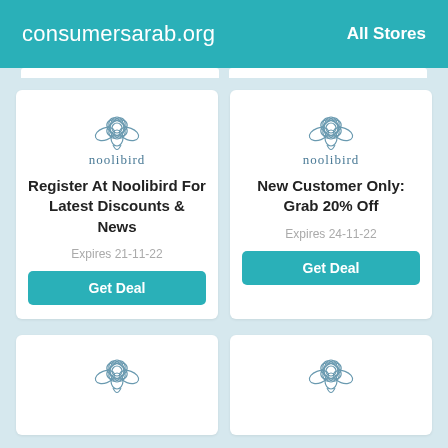consumersarab.org   All Stores
[Figure (logo): Noolibird logo with bird/flower illustration and text 'noolibird']
Register At Noolibird For Latest Discounts & News
Expires 21-11-22
Get Deal
[Figure (logo): Noolibird logo with bird/flower illustration and text 'noolibird']
New Customer Only: Grab 20% Off
Expires 24-11-22
Get Deal
[Figure (logo): Noolibird logo partial, bird/flower illustration, bottom card cut off]
[Figure (logo): Noolibird logo partial, bird/flower illustration, bottom card cut off]